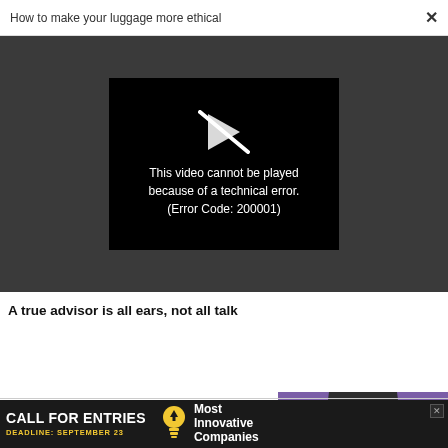How to make your luggage more ethical ×
[Figure (screenshot): Video player showing error: black box with broken play icon and text: This video cannot be played because of a technical error. (Error Code: 200001). Dark grey background surrounds the player.]
A true advisor is all ears, not all talk
[Figure (photo): Photo of a middle-aged man with glasses wearing a white turtleneck and dark blazer, against a purple background.]
[Figure (infographic): Black banner advertisement: CALL FOR ENTRIES DEADLINE: SEPTEMBER 23 with a lightbulb icon and text Most Innovative Companies]